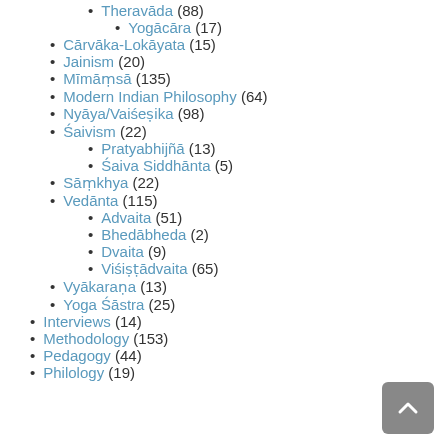Theravāda (88)
Yogācāra (17)
Cārvāka-Lokāyata (15)
Jainism (20)
Mīmāṃsā (135)
Modern Indian Philosophy (64)
Nyāya/Vaiśeṣika (98)
Śaivism (22)
Pratyabhijñā (13)
Śaiva Siddhānta (5)
Sāṃkhya (22)
Vedānta (115)
Advaita (51)
Bhedābheda (2)
Dvaita (9)
Viśiṣṭādvaita (65)
Vyākaraṇa (13)
Yoga Śāstra (25)
Interviews (14)
Methodology (153)
Pedagogy (44)
Philology (19)